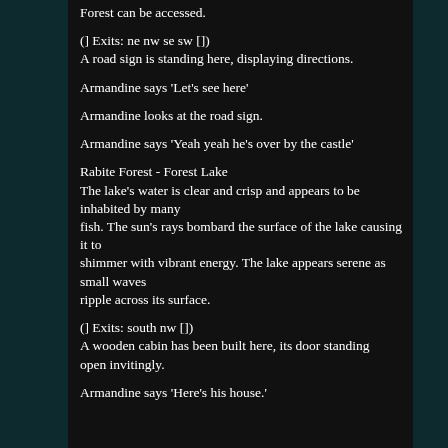Forest can be accessed.
(] Exits: ne nw se sw [)
A road sign is standing here, displaying directions.
Armandine says 'Let's see here'
Armandine looks at the road sign.
Armandine says 'Yeah yeah he's over by the castle'
Rabite Forest - Forest Lake
The lake's water is clear and crisp and appears to be inhabited by many
fish. The sun's rays bombard the surface of the lake causing it to
shimmer with vibrant energy. The lake appears serene as small waves
ripple across its surface.
(] Exits: south nw [)
A wooden cabin has been built here, its door standing open invitingly.
Armandine says 'Here's his house.'